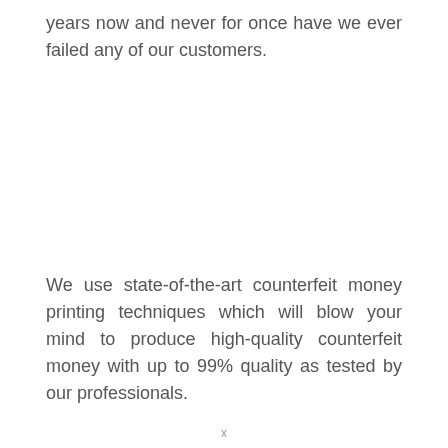years now and never for once have we ever failed any of our customers.
We use state-of-the-art counterfeit money printing techniques which will blow your mind to produce high-quality counterfeit money with up to 99% quality as tested by our professionals.
x